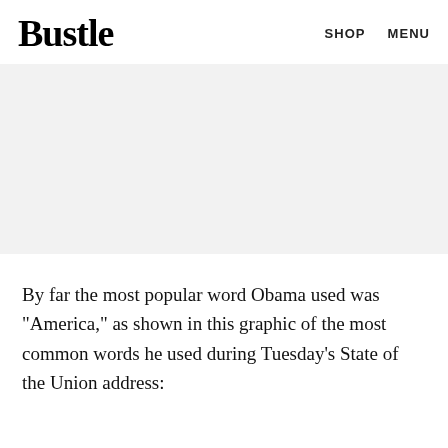Bustle   SHOP   MENU
[Figure (other): Gray advertisement placeholder banner]
By far the most popular word Obama used was "America," as shown in this graphic of the most common words he used during Tuesday's State of the Union address: